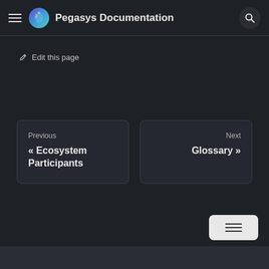Pegasys Documentation
✏ Edit this page
Previous
« Ecosystem Participants
Next
Glossary »